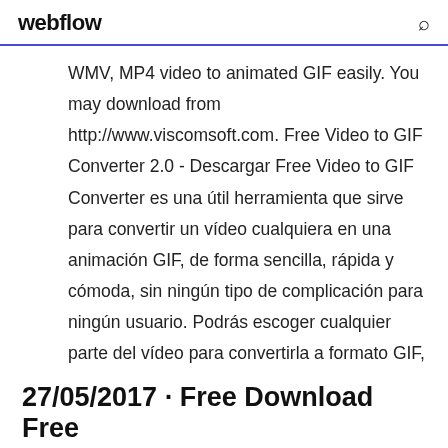webflow
WMV, MP4 video to animated GIF easily. You may download from http://www.viscomsoft.com. Free Video to GIF Converter 2.0 - Descargar Free Video to GIF Converter es una útil herramienta que sirve para convertir un vídeo cualquiera en una animación GIF, de forma sencilla, rápida y cómoda, sin ningún tipo de complicación para ningún usuario. Podrás escoger cualquier parte del vídeo para convertirla a formato GIF, sea ... How to Convert Video to GIF with Free Video to GIF ...
27/05/2017 · Free Download Free ...